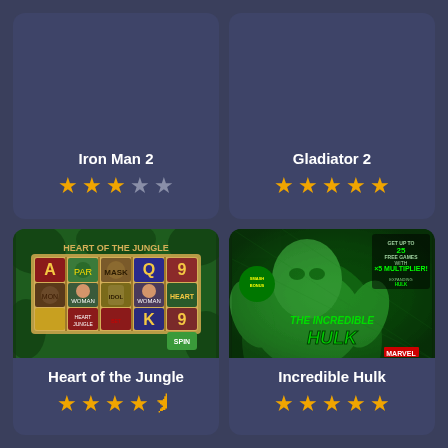Iron Man 2
★★★☆☆ (3/5 stars)
Gladiator 2
★★★★★ (5/5 stars)
[Figure (screenshot): Heart of the Jungle slot game screenshot showing slot reels with playing card symbols A, K, Q, 9 and jungle characters on green background]
Heart of the Jungle
★★★★☆ (4.5/5 stars)
[Figure (screenshot): The Incredible Hulk slot game screenshot showing the Hulk character on green background with text: GET UP TO 25 FREE GAMES WITH 5 MULTIPLIERS, EXPANDING HULK FEATURE, SMASH BONUS. Marvel logo.]
Incredible Hulk
★★★★★ (5/5 stars)